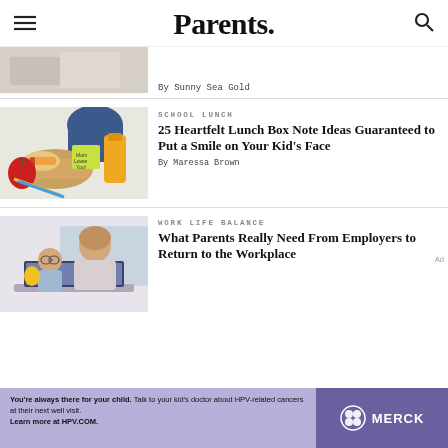Parents.
By Sunny Sea Gold
SCHOOL LUNCH
25 Heartfelt Lunch Box Note Ideas Guaranteed to Put a Smile on Your Kid's Face
By Maressa Brown
WORK LIFE BALANCE
What Parents Really Need From Employers to Return to the Workplace
[Figure (photo): Photo of school lunch bag with sandwich, apple, carrots, and juice on table with a Mom Loves You note]
[Figure (photo): Photo of a mother and child working together at a laptop at home]
Ad
You're always there for your child. Talk to your kid's doctor about HPV-related cancers at their next well visit. Learn more at HPV.COM. MERCK